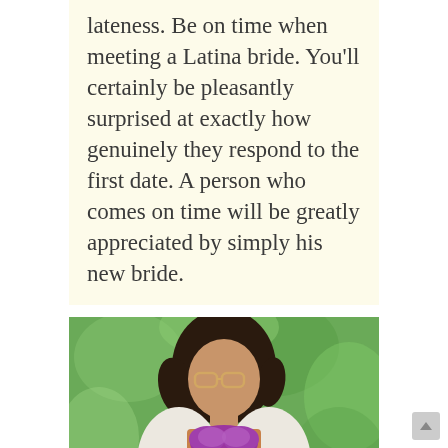lateness. Be on time when meeting a Latina bride. You'll certainly be pleasantly surprised at exactly how genuinely they respond to the first date. A person who comes on time will be greatly appreciated by simply his new bride.
[Figure (photo): A young woman with long dark hair and glasses, wearing a purple sequined bra top and open white jacket, posing outdoors against a green leafy background. A shutterstock watermark is visible.]